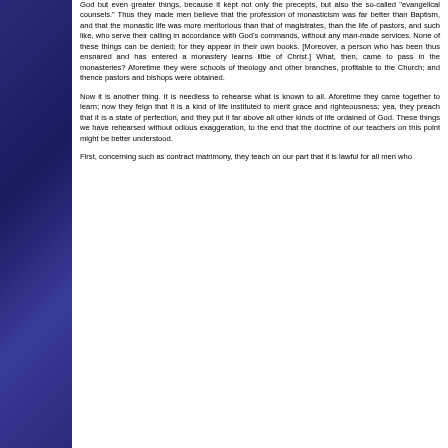God but even greater things, because it kept not only the precepts, but also the so-called “evangelical counsels.” Thus they made men believe that the profession of monasticism was far better than Baptism, and that the monastic life was more meritorious than that of magistrates, than the life of pastors, and such like, who serve their calling in accordance with God’s commands, without any man-made services. None of these things can be denied; for they appear in their own books. [Moreover, a person who has been thus ensnared and has entered a monastery learns little of Christ.] What, then, came to pass in the monasteries? Aforetime they were schools of theology and other branches, profitable to the Church; and thence pastors and bishops were obtained.
Now it is another thing. It is needless to rehearse what is known to all. Aforetime they came together to learn; now they feign that it is a kind of life instituted to merit grace and righteousness; yea, they preach that it is a state of perfection, and they put it far above all other kinds of life ordained of God. These things we have rehearsed without odious exaggeration, to the end that the doctrine of our teachers on this point might be better understood.
First, concerning such as contract matrimony, they teach on our part that it is lawful for all men who